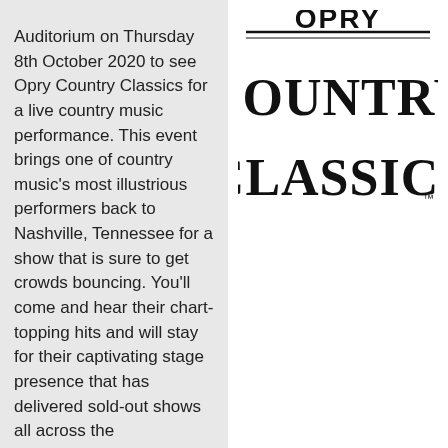Auditorium on Thursday 8th October 2020 to see Opry Country Classics for a live country music performance. This event brings one of country music's most illustrious performers back to Nashville, Tennessee for a show that is sure to get crowds bouncing. You'll come and hear their chart-topping hits and will stay for their captivating stage presence that has delivered sold-out shows all across the
[Figure (logo): Opry Country Classics logo in bold black western-style serif font on white background]